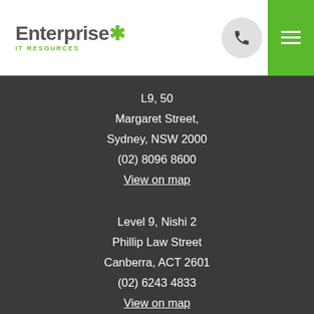[Figure (logo): Enterprise IT Resources logo with green star and green 'IT RESOURCES' subtitle]
L9, 50
Margaret Street,
Sydney, NSW 2000
(02) 8096 8600
View on map
Level 9, Nishi 2
Phillip Law Street
Canberra, ACT 2601
(02) 6243 4833
View on map